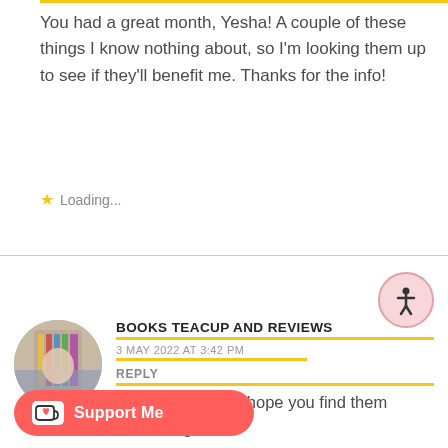You had a great month, Yesha! A couple of these things I know nothing about, so I'm looking them up to see if they'll benefit me. Thanks for the info!
★ Loading...
[Figure (illustration): Accessibility icon button - person in circle with pink background]
[Figure (photo): Circular avatar photo of person holding books]
BOOKS TEACUP AND REVIEWS
3 MAY 2022 AT 3:42 PM
REPLY
Thank you, Teri! I hope you find them interesting.
Loading...
[Figure (illustration): Support Me button with ko-fi cup icon in red/coral rounded rectangle]